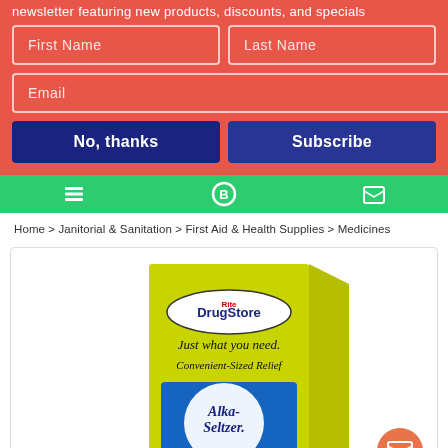newsletter featuring new products, discounts, and specials
First Name
Last Name
Email
No, thanks
Subscribe
Home > Janitorial & Sanitation > First Aid & Health Supplies > Medicines
[Figure (photo): DrugStore brand Alka-Seltzer Original product box - yellow packaging with blue Alka-Seltzer logo, 'Just what you need.' and 'Convenient-Sized Relief' text, showing effervescent tablets]